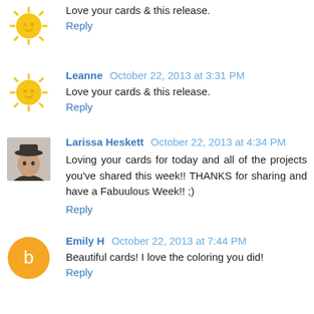Love your cards & this release.
Reply
Leanne  October 22, 2013 at 3:31 PM
Love your cards & this release.
Reply
Larissa Heskett  October 22, 2013 at 4:34 PM
Loving your cards for today and all of the projects you've shared this week!! THANKS for sharing and have a Fabuulous Week!! ;)
Reply
Emily H  October 22, 2013 at 7:44 PM
Beautiful cards! I love the coloring you did!
Reply